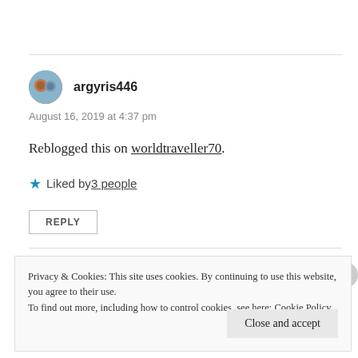argyris446
August 16, 2019 at 4:37 pm
Reblogged this on worldtraveller70.
★ Liked by 3 people
REPLY
Privacy & Cookies: This site uses cookies. By continuing to use this website, you agree to their use.
To find out more, including how to control cookies, see here: Cookie Policy
Close and accept